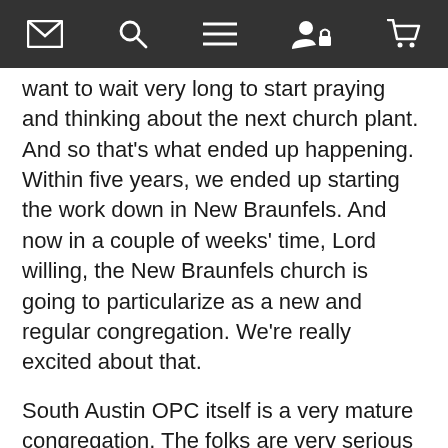[navigation bar with icons: envelope, search, menu, user/lock, cart]
want to wait very long to start praying and thinking about the next church plant. And so that's what ended up happening. Within five years, we ended up starting the work down in New Braunfels. And now in a couple of weeks' time, Lord willing, the New Braunfels church is going to particularize as a new and regular congregation. We're really excited about that.
South Austin OPC itself is a very mature congregation. The folks are very serious about the word. They're absolutely committed to Reformed worship, to the inclusion of Psalms in worship—not exclusively, but inclusive psalmody—and to Reformed orthodoxy. Our elders are very good shepherds. They take good care of the people and